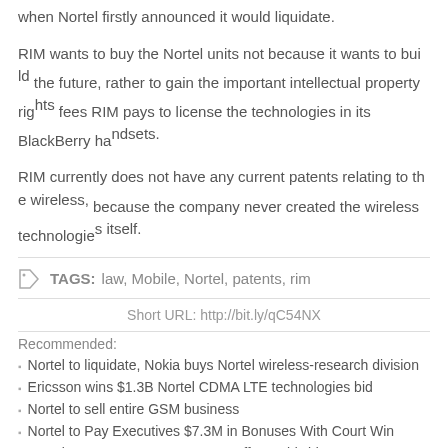when Nortel firstly announced it would liquidate.
RIM wants to buy the Nortel units not because it wants to build the future, rather to gain the important intellectual property rights fees RIM pays to license the technologies in its BlackBerry ha...
RIM currently does not have any current patents relating to the because the company never created the wireless technologies...
TAGS: law, Mobile, Nortel, patents, rim
Short URL: http://bit.ly/qC54NX
Recommended:
Nortel to liquidate, Nokia buys Nortel wireless-research division
Ericsson wins $1.3B Nortel CDMA LTE technologies bid
Nortel to sell entire GSM business
Nortel to Pay Executives $7.3M in Bonuses With Court Win
Nortel Announces 3,200 New Layoffs Worldwide
Ensure that you follow us on Twitter and Like us on Facebook